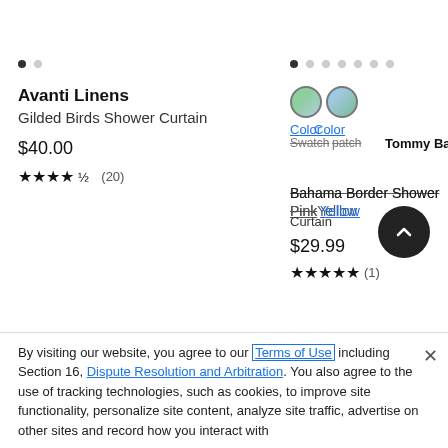[Figure (screenshot): Product listing page with two shower curtain products and a cookie consent bar at bottom]
Avanti Linens
Gilded Birds Shower Curtain
$40.00
★★★★½ (20)
Color Color
Swatch / Tommy Bahama
Bahama Border Shower Curtain
Pink / Yellow
$29.99
★★★★★ (1)
By visiting our website, you agree to our Terms of Use including Section 16, Dispute Resolution and Arbitration. You also agree to the use of tracking technologies, such as cookies, to improve site functionality, personalize site content, analyze site traffic, advertise on other sites and record how you interact with